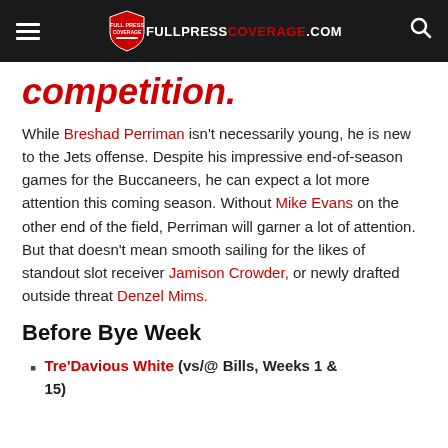FULLPRESSCOVERAGE.COM
competition.
While Breshad Perriman isn't necessarily young, he is new to the Jets offense. Despite his impressive end-of-season games for the Buccaneers, he can expect a lot more attention this coming season. Without Mike Evans on the other end of the field, Perriman will garner a lot of attention. But that doesn't mean smooth sailing for the likes of standout slot receiver Jamison Crowder, or newly drafted outside threat Denzel Mims.
Before Bye Week
Tre'Davious White (vs/@ Bills, Weeks 1 & 15)